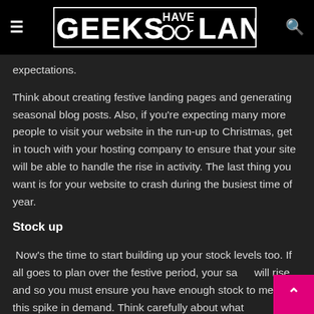Geeks Have Landed
expectations.
Think about creating festive landing pages and generating seasonal blog posts. Also, if you're expecting many more people to visit your website in the run-up to Christmas, get in touch with your hosting company to ensure that your site will be able to handle the rise in activity. The last thing you want is for your website to crash during the busiest time of year.
Stock up
Now's the time to start building up your stock levels too. If all goes to plan over the festive period, your sales will rise and so you must ensure you have enough stock to meet this spike in demand. Think carefully about what